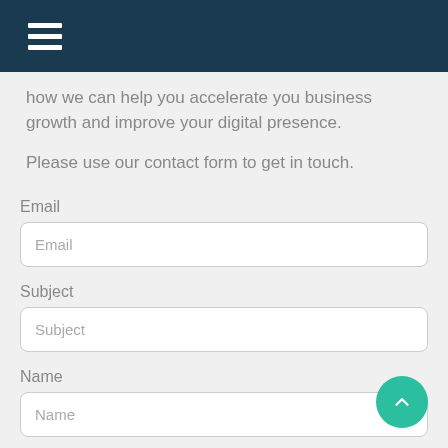Navigation menu
how we can help you accelerate you business growth and improve your digital presence.
Please use our contact form to get in touch.
Email
Email
Subject
Subject
Name
Name